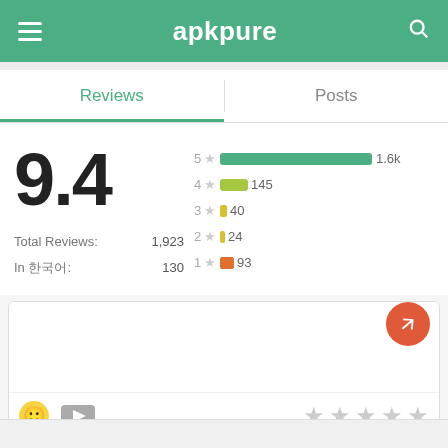apkpure
Reviews	Posts
9.4
Total Reviews: 1,923
In 한국어: 130
[Figure (bar-chart): Star rating distribution]
Review input area
Emoji, video icons and star rating toolbar